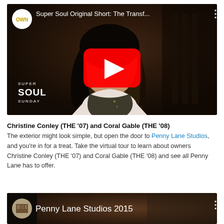[Figure (screenshot): YouTube video thumbnail for 'Super Soul Original Short: The Transf...' on OWN channel. Shows a smiling Asian woman with long dark hair, wearing a white top and dark scarf, with 'SUPER SOUL SUNDAY' text overlay at bottom-left, red YouTube play button in center, OWN logo circle top-left, video title at top, and three-dot menu icon top-right.]
Christine Conley (THE '07) and Coral Gable (THE '08)
The exterior might look simple, but open the door to Penny Lane Studios, and you're in for a treat. Take the virtual tour to learn about owners Christine Conley (THE '07) and Coral Gable (THE '08) and see all Penny Lane has to offer.
[Figure (screenshot): YouTube video thumbnail for 'Penny Lane Studios 2015'. Shows interior of a studio/café space. Circular logo/profile image at left showing a building exterior. Title 'Penny Lane Studios 2015' in white text. Three-dot menu at right.]